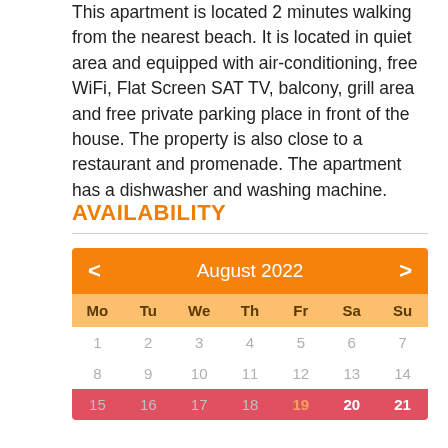This apartment is located 2 minutes walking from the nearest beach. It is located in quiet area and equipped with air-conditioning, free WiFi, Flat Screen SAT TV, balcony, grill area and free private parking place in front of the house. The property is also close to a restaurant and promenade. The apartment has a dishwasher and washing machine.
AVAILABILITY
[Figure (other): Availability calendar showing August 2022 with days Mo-Su. Dates 1-18 shown in grey, dates 19-21 highlighted in red/pink in the last visible row. Calendar has orange header with navigation arrows.]